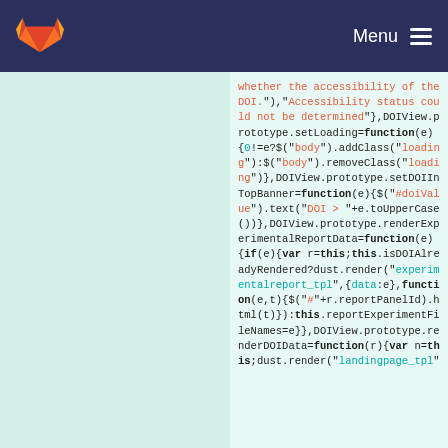Menu
whether the accessibility of the DOI."),"Accessibility status could not be determined"},DOIView.prototype.setLoading=function(e){0!=e?$("body").addClass("loading"):$("body").removeClass("loading"},DOIView.prototype.setDOIInTopBanner=function(e){$("#doiValue").text("DOI > "+e.toUpperCase())},DOIView.prototype.renderExperimentalReportData=function(e){if(e){var r=this;this.isDOIAlreadyRendered?dust.render("experimentalreport_tpl",{data:e},function(e,t){$("#"+r.reportPanelId).html(t)}):this.reportExperimentFileNames=e}},DOIView.prototype.renderDOIData=function(r){var n=this;dust.render("landingpage_tpl"